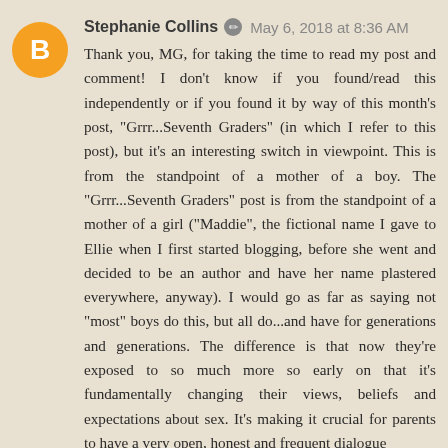Stephanie Collins ✏ May 6, 2018 at 8:36 AM
Thank you, MG, for taking the time to read my post and comment! I don't know if you found/read this independently or if you found it by way of this month's post, "Grrr...Seventh Graders" (in which I refer to this post), but it's an interesting switch in viewpoint. This is from the standpoint of a mother of a boy. The "Grrr...Seventh Graders" post is from the standpoint of a mother of a girl ("Maddie", the fictional name I gave to Ellie when I first started blogging, before she went and decided to be an author and have her name plastered everywhere, anyway). I would go as far as saying not "most" boys do this, but all do...and have for generations and generations. The difference is that now they're exposed to so much more so early on that it's fundamentally changing their views, beliefs and expectations about sex. It's making it crucial for parents to have a very open, honest and frequent dialogue